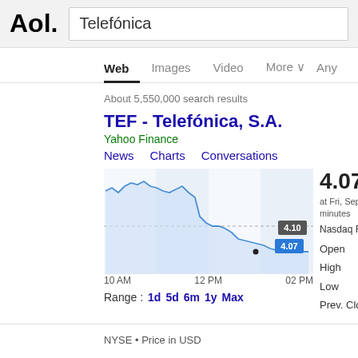Aol.
Telefónica
Web  Images  Video  More  Any
About 5,550,000 search results
TEF - Telefónica, S.A.
Yahoo Finance
News  Charts  Conversations
[Figure (line-chart): Intraday line chart for TEF showing price from ~4.12 at 10AM down to 4.07 around 12PM-2PM with y-axis labels 4.16, 4.123, 4.10, 4.067, 4.05]
Range :  1d  5d  6m  1y  Max
4.07  -0.0
at Fri, Sep 2, 2  minutes
Nasdaq Real T
Open
High
Low
Prev. Close
NYSE • Price in USD